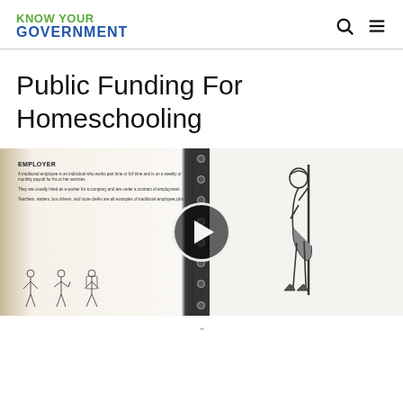KNOW YOUR GOVERNMENT
Public Funding For Homeschooling
[Figure (screenshot): Open spiral-bound educational workbook showing an 'EMPLOYER' page with text description and small illustrated figures on the left page, and a detailed pencil illustration of a worker carrying equipment on the right page. A video play button overlay appears in the center.]